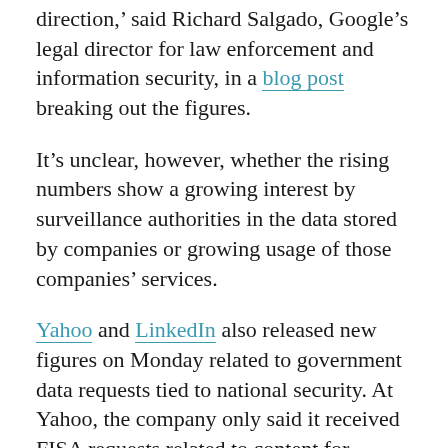direction,' said Richard Salgado, Google's legal director for law enforcement and information security, in a blog post breaking out the figures.
It's unclear, however, whether the rising numbers show a growing interest by surveillance authorities in the data stored by companies or growing usage of those companies' services.
Yahoo and LinkedIn also released new figures on Monday related to government data requests tied to national security. At Yahoo, the company only said it received FISA requests related to content for between 30,000 and 30,999 accounts during the first half of 2013.
Because the numbers of FISA requests can only be made available six months after the end of each reporting period, the companies could not yet